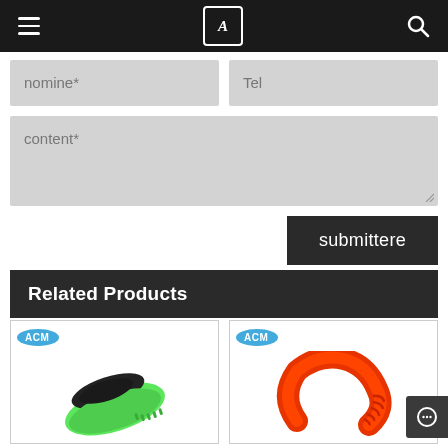Navigation bar with hamburger menu, logo, and search icon
nomine*
Tel
content*
submittere
Related Products
[Figure (photo): Black and green fitness wristband/bracelet with ACM logo badge]
[Figure (photo): Red fitness wristband/bracelet with ACM logo badge]